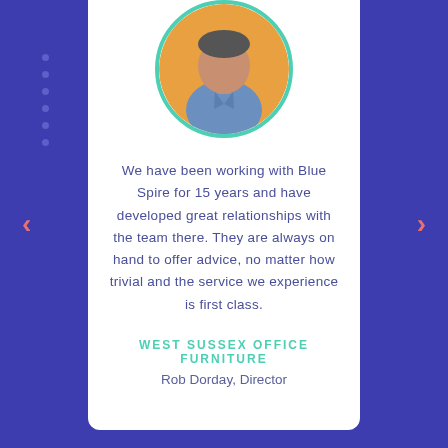[Figure (photo): Circular profile photo of a man in a blue shirt against an orange background]
We have been working with Blue Spire for 15 years and have developed great relationships with the team there. They are always on hand to offer advice, no matter how trivial and the service we experience is first class.
WEST SUSSEX OFFICE FURNITURE
Rob Dorday, Director